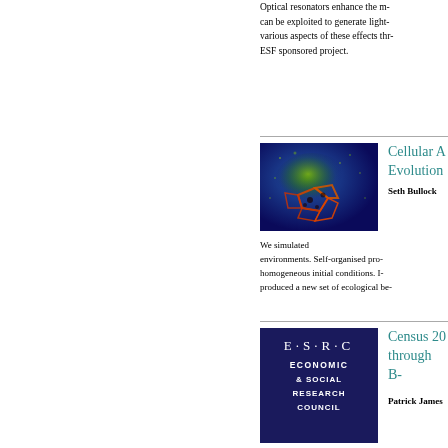Optical resonators enhance the m... can be exploited to generate light-... various aspects of these effects thr... ESF sponsored project.
[Figure (photo): Microscopy image showing cellular automata simulation with colorful patterns on dark blue background, featuring orange/red cell-like structures]
Cellular A... Evolution...
Seth Bullock
We simulated environments. Self-organised pro... homogeneous initial conditions. I... produced a new set of ecological be...
[Figure (logo): ESRC Economic and Social Research Council logo, white text on dark navy blue background]
Census 20... through B...
Patrick James